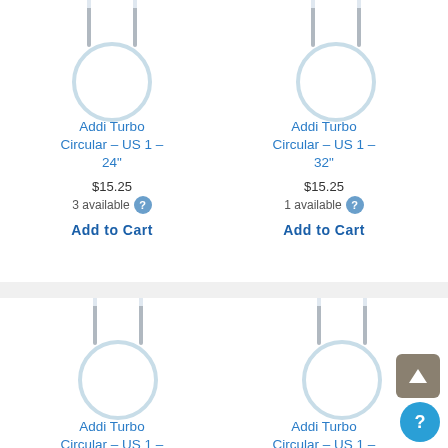[Figure (photo): Circular knitting needle image for Addi Turbo Circular US 1 - 24 inch]
Addi Turbo Circular - US 1 - 24"
$15.25
3 available
Add to Cart
[Figure (photo): Circular knitting needle image for Addi Turbo Circular US 1 - 32 inch]
Addi Turbo Circular - US 1 - 32"
$15.25
1 available
Add to Cart
[Figure (photo): Circular knitting needle image for Addi Turbo Circular US 1 - 40 inch]
Addi Turbo Circular - US 1 - 40
[Figure (photo): Circular knitting needle image for Addi Turbo Circular US 1 - 47 inch]
Addi Turbo Circular - US 1 - 47"